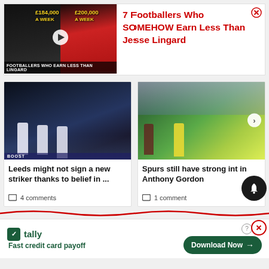[Figure (screenshot): Ad banner showing two footballers with salary text £184,000 A WEEK and £200,000 A WEEK, with play button. Caption: FOOTBALLERS WHO EARN LESS THAN LINGARD]
7 Footballers Who SOMEHOW Earn Less Than Jesse Lingard
[Figure (photo): Football match photo: Leeds United players standing dejected on pitch at night]
Leeds might not sign a new striker thanks to belief in ...
4 comments
[Figure (photo): Football match photo: Spurs player tackling in yellow kit on grass pitch with crowd]
Spurs still have strong int in Anthony Gordon
1 comment
[Figure (logo): Tally app advertisement: Fast credit card payoff. Download Now button.]